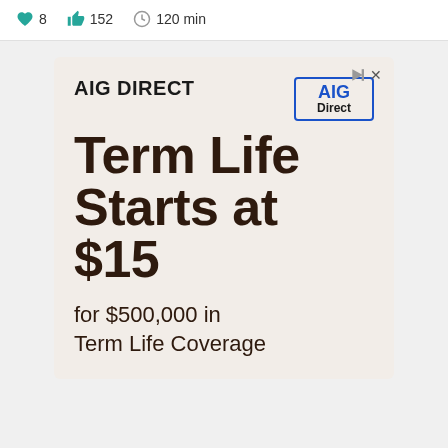8  152  120 min
[Figure (advertisement): AIG Direct insurance advertisement with text: Term Life Starts at $15 for $500,000 in Term Life Coverage. Features AIG Direct logo in blue box.]